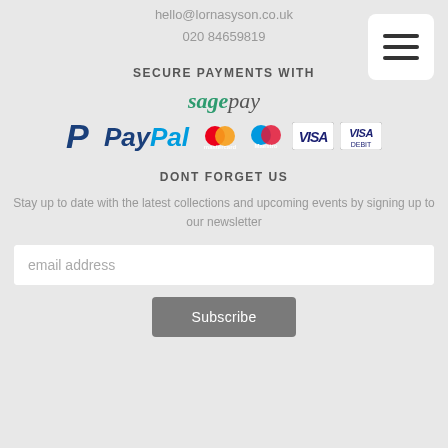hello@lornasyson.co.uk
020 84659819
SECURE PAYMENTS WITH
[Figure (logo): Sage Pay, PayPal, Mastercard, Maestro, Visa, Visa Debit payment logos]
DONT FORGET US
Stay up to date with the latest collections and upcoming events by signing up to our newsletter
email address
Subscribe